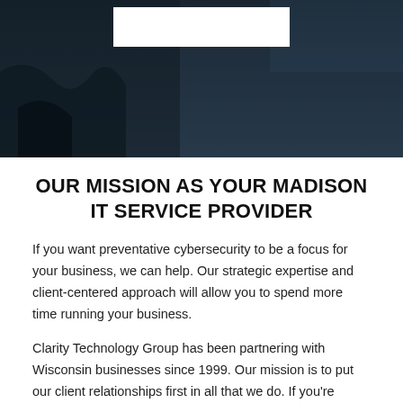[Figure (photo): Dark blue-tinted photo of what appears to be computer/technology equipment with a white logo box overlay at the top center]
OUR MISSION AS YOUR MADISON IT SERVICE PROVIDER
If you want preventative cybersecurity to be a focus for your business, we can help. Our strategic expertise and client-centered approach will allow you to spend more time running your business.
Clarity Technology Group has been partnering with Wisconsin businesses since 1999. Our mission is to put our client relationships first in all that we do. If you're looking for a managed IT services provider that cares about your business and takes the time